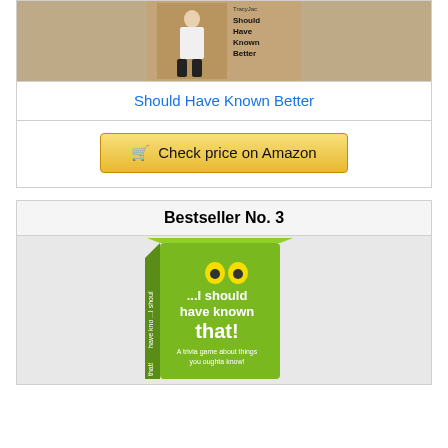[Figure (photo): Book cover for 'Should Have Known Better' showing a person standing outdoors]
Should Have Known Better
Check price on Amazon
Bestseller No. 3
[Figure (photo): Green box for '...I should have known that!' trivia game]